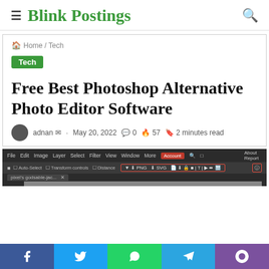≡ Blink Postings 🔍
🏠 Home / Tech
Tech
Free Best Photoshop Alternative Photo Editor Software
adnan ✉ · May 20, 2022 🗨 0 🔥 57 🔖 2 minutes read
[Figure (screenshot): Screenshot of a photo editing software (Photoshop alternative) showing the menu bar with File, Edit, Image, Layer, Select, Filter, View, Window, More, Account (highlighted in red) menus, and a toolbar with PNG/SVG export options highlighted in a red rectangle. A tab shows an open document.]
Facebook Twitter WhatsApp Telegram Viber (social share buttons)